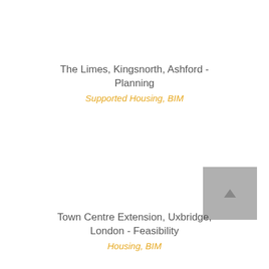The Limes, Kingsnorth, Ashford - Planning
Supported Housing, BIM
[Figure (other): Grey square placeholder image with a small upward arrow icon in the center]
Town Centre Extension, Uxbridge, London - Feasibility
Housing, BIM